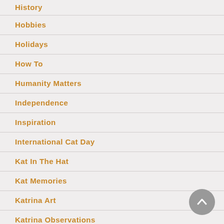History
Hobbies
Holidays
How To
Humanity Matters
Independence
Inspiration
International Cat Day
Kat In The Hat
Kat Memories
Katrina Art
Katrina Observations
Kent State University
Lessons